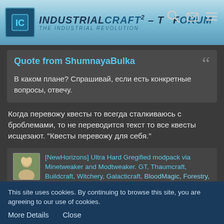IndustrialCraft² - The Forum — The Industrial Revolution
Quote from ShumnayaBulka
В каком плане? Спрашивай, если есть конкретные вопросы, отвечу.
Когда перевожу квесты то всегда сталкиваюсь с броблемами, то не переводится текст то все квесты исщезают. "Квесты перевожу для себя."
[NewHorizons] Ultra Hard Gregified modpack via Minetweaker and Modtweaker. GT, Thaumcraft, Buildcraft, Witchery, Galacticraft, BloodMagic, Forestry, Botania, Genetics & Bla...
This site uses cookies. By continuing to browse this site, you are agreeing to our use of cookies.
More Details   Close